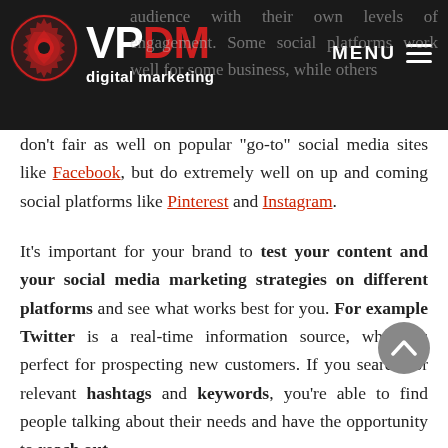VPDM digital marketing — MENU
audience with their own levels of engagement. Some social platforms work well for some business, while others don't fair as well on popular "go-to" social media sites like Facebook, but do extremely well on up and coming social platforms like Pinterest and Instagram.
It's important for your brand to test your content and your social media marketing strategies on different platforms and see what works best for you. For example Twitter is a real-time information source, which is perfect for prospecting new customers. If you search for relevant hashtags and keywords, you're able to find people talking about their needs and have the opportunity to reach out,